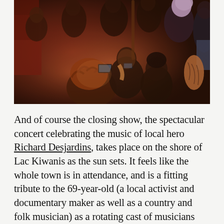[Figure (photo): A concert crowd photo taken from above showing multiple people, including someone with lavender/pink hair, people holding up phones to record, and others with tattoos, in a dimly lit venue with warm red and orange lighting.]
And of course the closing show, the spectacular concert celebrating the music of local hero Richard Desjardins, takes place on the shore of Lac Kiwanis as the sun sets. It feels like the whole town is in attendance, and is a fitting tribute to the 69-year-old (a local activist and documentary maker as well as a country and folk musician) as a rotating cast of musicians pays their dues The Last Waltz style. It's a little too middle of the road for my own tastes but hearing